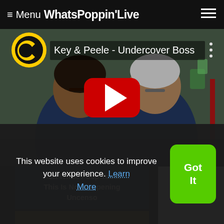≡ Menu WhatsPoppinLive
[Figure (screenshot): YouTube video thumbnail showing Key & Peele - Undercover Boss with Comedy Central logo, two men in dark polo shirts, and a YouTube play button overlay]
Ron White Poop Tooth This Is Not Happening Uncenso
This website uses cookies to improve your experience. Learn More
Got It